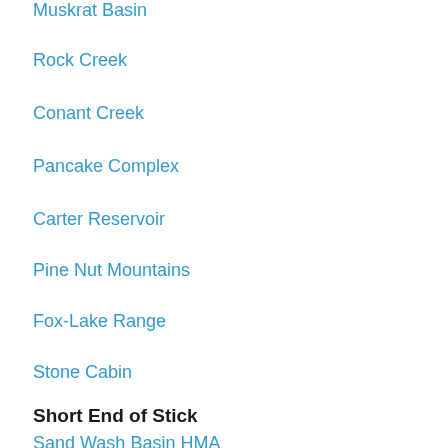Muskrat Basin
Rock Creek
Conant Creek
Pancake Complex
Carter Reservoir
Pine Nut Mountains
Fox-Lake Range
Stone Cabin
Short End of Stick
Sand Wash Basin HMA